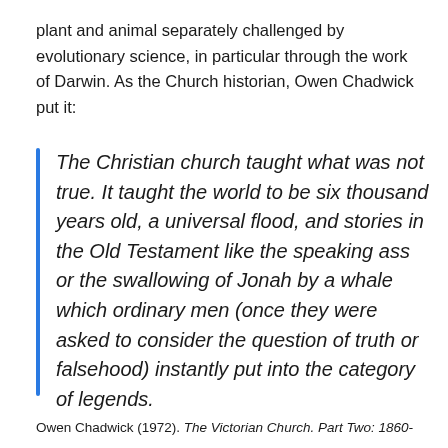plant and animal separately challenged by evolutionary science, in particular through the work of Darwin. As the Church historian, Owen Chadwick put it:
The Christian church taught what was not true. It taught the world to be six thousand years old, a universal flood, and stories in the Old Testament like the speaking ass or the swallowing of Jonah by a whale which ordinary men (once they were asked to consider the question of truth or falsehood) instantly put into the category of legends.
Owen Chadwick (1972). The Victorian Church. Part Two: 1860-